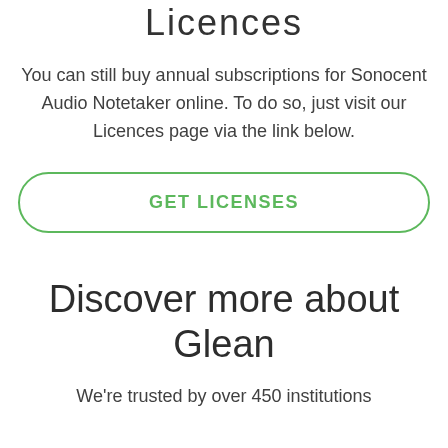Licences
You can still buy annual subscriptions for Sonocent Audio Notetaker online. To do so, just visit our Licences page via the link below.
GET LICENSES
Discover more about Glean
We're trusted by over 450 institutions